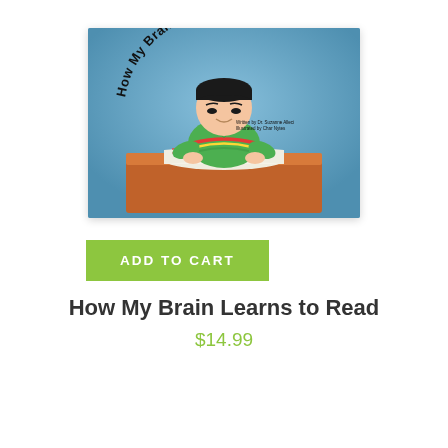[Figure (illustration): Book cover illustration: A child with black hair wearing a green shirt sits at an orange desk reading an open book. The book cover has a blue background. Curved text at the top reads 'How My Brain Learns to Read'. Small text below the title reads 'Written by Dr. Suzanne Alleci, Illustrated by Char Nytes'.]
ADD TO CART
How My Brain Learns to Read
$14.99